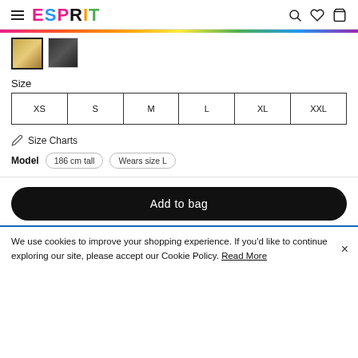ESPRIT
[Figure (screenshot): Two product thumbnail images — a gold/tan item and a dark item]
Size
| XS | S | M | L | XL | XXL |
| --- | --- | --- | --- | --- | --- |
Size Charts
Model  186 cm tall  Wears size L
Add to bag
We use cookies to improve your shopping experience. If you'd like to continue exploring our site, please accept our Cookie Policy. Read More